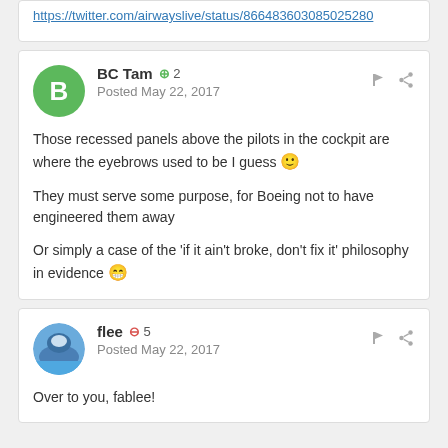https://twitter.com/airwayslive/status/866483603085025280
BC Tam +2 Posted May 22, 2017
Those recessed panels above the pilots in the cockpit are where the eyebrows used to be I guess :)

They must serve some purpose, for Boeing not to have engineered them away

Or simply a case of the 'if it ain't broke, don't fix it' philosophy in evidence 😁
flee -5 Posted May 22, 2017
Over to you, fablee!